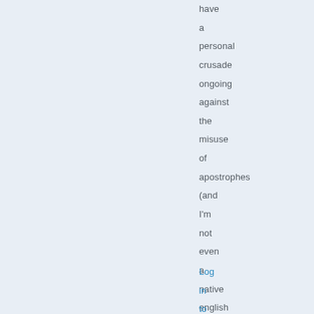have a personal crusade ongoing against the misuse of apostrophes (and I'm not even a native english speaker).
Log in to Reply